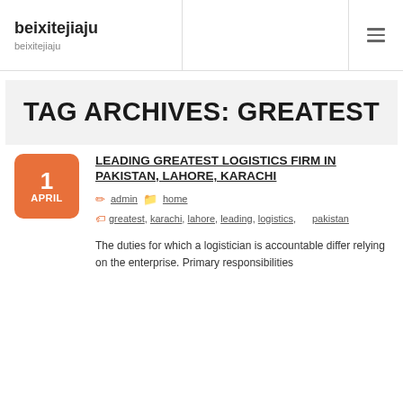beixitejiaju
beixitejiaju
TAG ARCHIVES: GREATEST
LEADING GREATEST LOGISTICS FIRM IN PAKISTAN, LAHORE, KARACHI
admin  home
greatest, karachi, lahore, leading, logistics, pakistan
The duties for which a logistician is accountable differ relying on the enterprise. Primary responsibilities